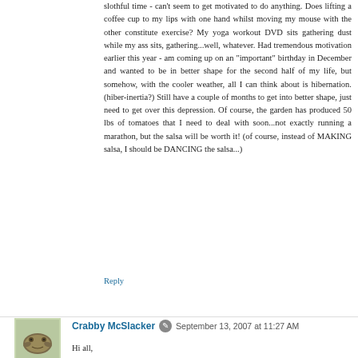slothful time - can't seem to get motivated to do anything. Does lifting a coffee cup to my lips with one hand whilst moving my mouse with the other constitute exercise? My yoga workout DVD sits gathering dust while my ass sits, gathering...well, whatever. Had tremendous motivation earlier this year - am coming up on an "important" birthday in December and wanted to be in better shape for the second half of my life, but somehow, with the cooler weather, all I can think about is hibernation. (hiber-inertia?) Still have a couple of months to get into better shape, just need to get over this depression. Of course, the garden has produced 50 lbs of tomatoes that I need to deal with soon...not exactly running a marathon, but the salsa will be worth it! (of course, instead of MAKING salsa, I should be DANCING the salsa...)
Reply
Crabby McSlacker
September 13, 2007 at 11:27 AM
Hi all,
So my One Little Thing I'm going to do to get a bit more remotivated is download some fresh music. I've been